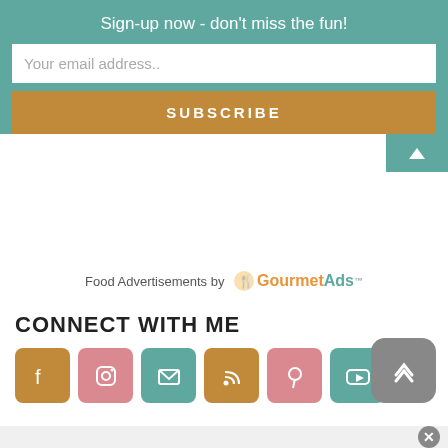Sign-up now - don't miss the fun!
Your email address..
SUBSCRIBE
Food Advertisements by GourmetAds
CONNECT WITH ME
[Figure (infographic): Row of six social media icon buttons: Facebook (gold), Instagram (pink), Email (teal), RSS (gold), Pinterest (pink), YouTube (teal)]